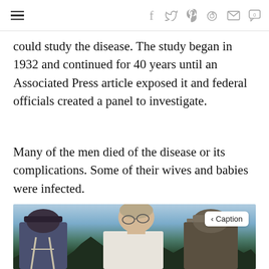Navigation and social share icons
could study the disease. The study began in 1932 and continued for 40 years until an Associated Press article exposed it and federal officials created a panel to investigate.
Many of the men died of the disease or its complications. Some of their wives and babies were infected.
[Figure (photo): Historical color photograph showing a white man in a white shirt and glasses interacting with Black men outdoors, with trees in the background. Related to the Tuskegee Syphilis Study.]